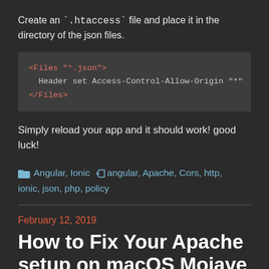Create an `.htaccess` file and place it in the directory of the json files.
[Figure (screenshot): Code block showing Apache .htaccess configuration: <Files "*.json"> / Header set Access-Control-Allow-Origin "*" / </Files>]
Simply reload your app and it should work! good luck!
Angular, Ionic   angular, Apache, Cors, http, ionic, json, php, policy
February 12, 2019
How to Fix Your Apache setup on macOS Mojave using Brew